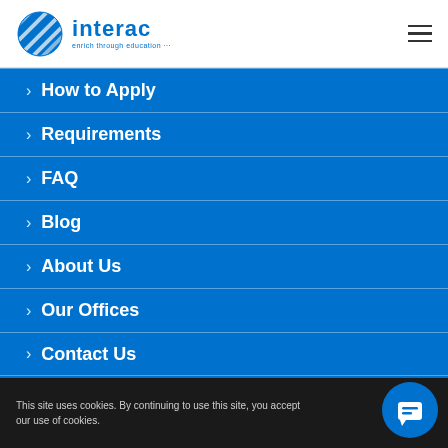interac — enrich through education
How to Apply
Requirements
FAQ
Blog
About Us
Our Offices
Contact Us
This site uses cookies. By continuing to use this site, you accept our use of cookies.